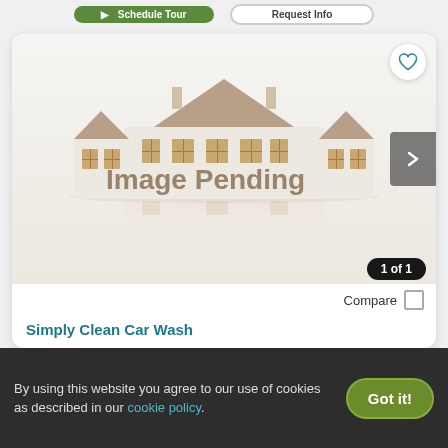[Figure (screenshot): Property listing card showing an 'Image Pending' placeholder with a house illustration. Contains a heart/favorite button, navigation arrow, '1 of 1' badge, Compare checkbox, and listing title 'Simply Clean Car Wash'.]
1 of 1
Compare
Simply Clean Car Wash
By using this website you agree to our use of cookies as described in our cookie policy.